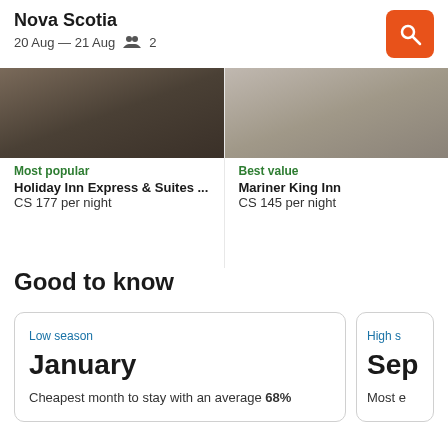Nova Scotia
20 Aug — 21 Aug   2
Most popular
Holiday Inn Express & Suites ...
CS 177 per night
Best value
Mariner King Inn
CS 145 per night
Good to know
Low season
January
Cheapest month to stay with an average 68%
High s
Sep
Most e